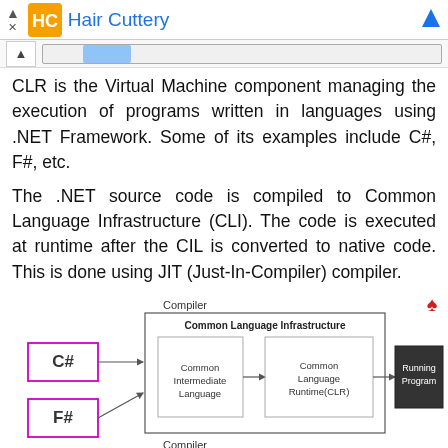Hair Cuttery
CLR is the Virtual Machine component managing the execution of programs written in languages using .NET Framework. Some of its examples include C#, F#, etc.
The .NET source code is compiled to Common Language Infrastructure (CLI). The code is executed at runtime after the CIL is converted to native code. This is done using JIT (Just-In-Compiler) compiler.
[Figure (flowchart): Flowchart showing C# and F# fed into a Compiler block containing Common Language Infrastructure, which includes Common Intermediate Language leading to Common Language Runtime (CLR), then to Running Program.]